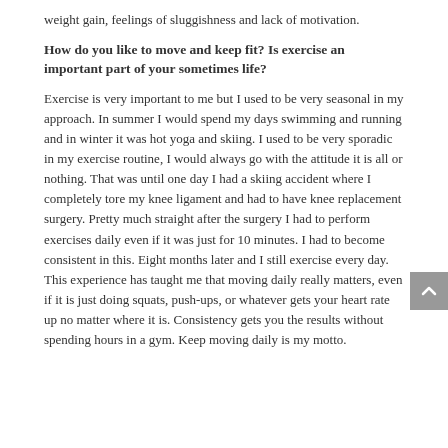weight gain, feelings of sluggishness and lack of motivation.
How do you like to move and keep fit? Is exercise an important part of your sometimes life?
Exercise is very important to me but I used to be very seasonal in my approach. In summer I would spend my days swimming and running and in winter it was hot yoga and skiing. I used to be very sporadic in my exercise routine, I would always go with the attitude it is all or nothing. That was until one day I had a skiing accident where I completely tore my knee ligament and had to have knee replacement surgery. Pretty much straight after the surgery I had to perform exercises daily even if it was just for 10 minutes. I had to become consistent in this. Eight months later and I still exercise every day. This experience has taught me that moving daily really matters, even if it is just doing squats, push-ups, or whatever gets your heart rate up no matter where it is. Consistency gets you the results without spending hours in a gym. Keep moving daily is my motto.